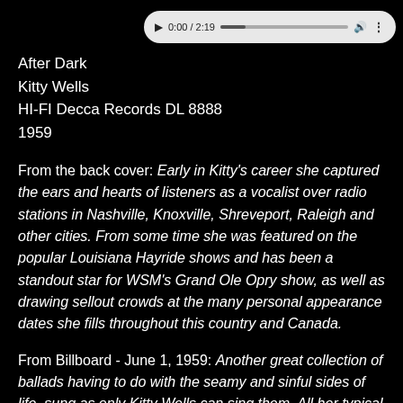[Figure (screenshot): Audio player bar showing play button, timestamp 0:00 / 2:19, progress bar, volume and options icons]
After Dark
Kitty Wells
HI-FI Decca Records DL 8888
1959
From the back cover: Early in Kitty's career she captured the ears and hearts of listeners as a vocalist over radio stations in Nashville, Knoxville, Shreveport, Raleigh and other cities. From some time she was featured on the popular Louisiana Hayride shows and has been a standout star for WSM's Grand Ole Opry show, as well as drawing sellout crowds at the many personal appearance dates she fills throughout this country and Canada.
From Billboard - June 1, 1959: Another great collection of ballads having to do with the seamy and sinful sides of life, sung as only Kitty Wells can sing them. All her typical haunting nasal quality comes thru on these tales of tragedy and heartbreak. Sample titles would be "He's Married To